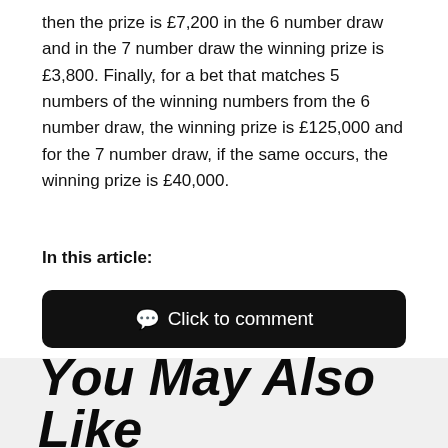then the prize is £7,200 in the 6 number draw and in the 7 number draw the winning prize is £3,800. Finally, for a bet that matches 5 numbers of the winning numbers from the 6 number draw, the winning prize is £125,000 and for the 7 number draw, if the same occurs, the winning prize is £40,000.
In this article:
[Figure (other): Click to comment button — black rounded rectangle with speech bubble icon and text 'Click to comment']
You May Also Like